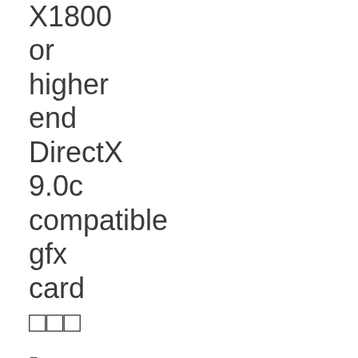X1800 or higher end DirectX 9.0c compatible gfx card □□□ - DirectX 9.0c compatible (Creative Sound Blaster Audigy